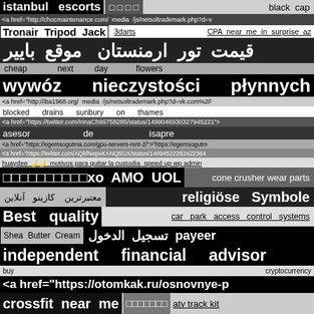istanbul escorts
□ □ □ □
black cap
<a href="http://chocmaintenance.com/ media /js/netsoltrademark.php?d=v
Tronair Tripod Jack
3darts
CPA near me in surprise az
قيمت تور ارمنستان  موقع بايير
cheap next day flowers
wywóz nieczystości płynnych
<a href="http://iba1968.org/ media /js/netsoltrademark.php?d=vk.com%2F
blocked drains sunbury on thames
<a href="https://twitter.com/IrinaCh99758285/status/1499046930327945221">
asesor de isapre
<a href="https://egemsogutma.com/gpu-servers-rent-2/">"https://egemsogutm
<a href="https://twitter.com/AQkfNepvKANQ5GX/status/14994522262422364
huaydee 🌙🌙 motivos para quitar la custodia speed up wp admin
□□□□□□□□□□xo AMO UOL
cone crusher wear parts
معتبرترین کازینو آنلاین
religiöse Symbole
Best quality
car park access control systems
Shea Butter Cream
payeer تسجيل الدخول
independent financial advisor
buy cryptocurrency
<a href="https://otomkak.ru/osnovnye-p
crossfit near me
□□□□□□□
atv track kit